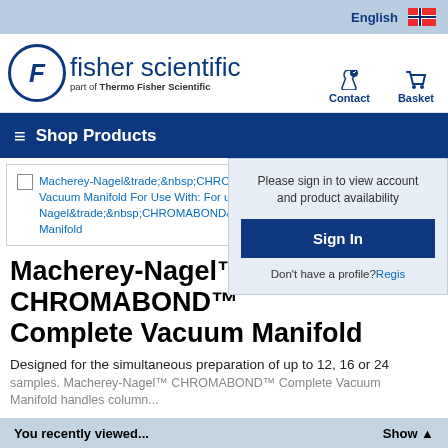English
[Figure (logo): Fisher Scientific logo — circle with F, 'fisher scientific' text, 'part of Thermo Fisher Scientific' subtext]
Contact
Basket
Shop Products
Please sign in to view account and product availability
Sign In
Don't have a profile?Regis...
Macherey-Nagel&trade;&nbsp;CHRO... Vacuum Manifold For Use With: For up... Nagel&trade;&nbsp;CHROMABOND&trade; Complete Vacuum Manifold
Macherey-Nagel™ CHROMABOND™ Complete Vacuum Manifold
Designed for the simultaneous preparation of up to 12, 16 or 24 samples. Macherey-Nagel™ CHROMABOND™ Complete Vacuum Manifold handles column...
You recently viewed... Show ▲